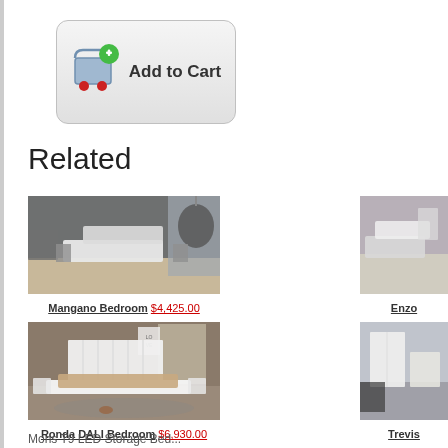[Figure (illustration): Add to Cart button with shopping cart icon (cart in blue/grey with green plus circle), two red circles below cart]
Related
[Figure (photo): Mangano Bedroom product photo – modern grey bedroom with platform bed and hanging chair]
Mangano Bedroom $4,425.00
[Figure (photo): Enzo bedroom product photo – partially visible on right edge, modern bedroom]
Enzo
[Figure (photo): Ronda DALI Bedroom product photo – white modern bedroom with tall headboard]
Ronda DALI Bedroom $6,930.00
[Figure (photo): Trevis bedroom product photo – partially visible on right edge]
Trevis
Mons T9 LED Storage Bed...